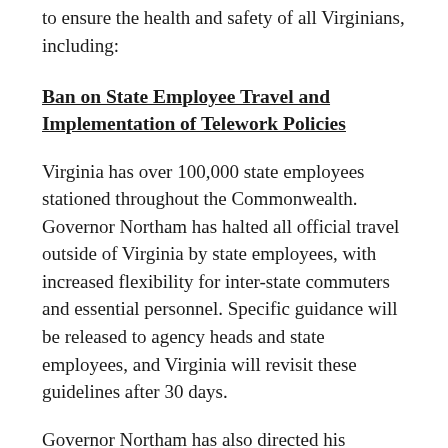to ensure the health and safety of all Virginians, including:
Ban on State Employee Travel and Implementation of Telework Policies
Virginia has over 100,000 state employees stationed throughout the Commonwealth. Governor Northam has halted all official travel outside of Virginia by state employees, with increased flexibility for inter-state commuters and essential personnel. Specific guidance will be released to agency heads and state employees, and Virginia will revisit these guidelines after 30 days.
Governor Northam has also directed his Secretary of Administration to implement a phased transition to teleworking for state employees. The Department of Human Resources Management will work with the Virginia Department of Health's Equity Workgroup to prioritize support for impacted state employees that may be unable to perform their duties from home, including in-person help for those who need office